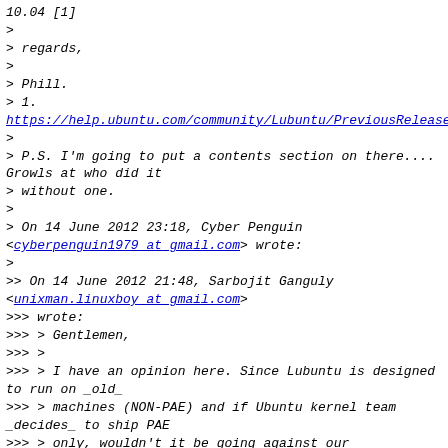10.04 [1]
>
> regards,
>
> Phill.
> 1.
https://help.ubuntu.com/community/Lubuntu/PreviousRelease
>
> P.S. I'm going to put a contents section on there.... Growls at who did it
> without one.
>
> On 14 June 2012 23:18, Cyber Penguin
<cyberpenguin1979 at gmail.com> wrote:
>
>> On 14 June 2012 21:48, Sarbojit Ganguly
<unixman.linuxboy at gmail.com>
>>> wrote:
>>> > Gentlemen,
>>> >
>>> > I have an opinion here. Since Lubuntu is designed to run on _old_
>>> > machines (NON-PAE) and if Ubuntu kernel team _decides_ to ship PAE
>>> > only, wouldn't it be going against our philosophy?
>>> >
>>> > In this case can Lubuntu maintain a "legacy" kernel tree of its own to
>>> > support NON-PAE cpus ? It will be then easier to